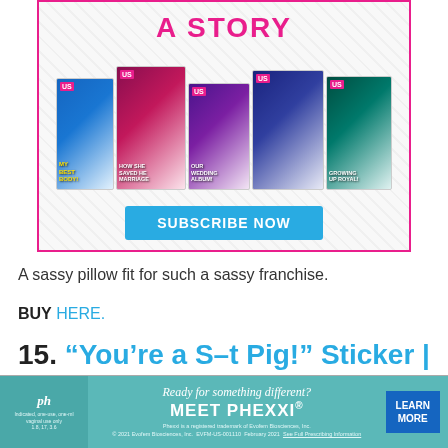[Figure (screenshot): Us Weekly magazine subscription advertisement showing multiple magazine covers with 'A STORY' headline at top, several Us Weekly covers fanned out, and a blue 'SUBSCRIBE NOW' button at bottom. The ad has a pink/magenta border.]
A sassy pillow fit for such a sassy franchise.
BUY HERE.
15. “You’re a S–t Pig!” Sticker | $2.44
[Figure (screenshot): Phexxi pharmaceutical advertisement with teal background. Shows 'Ready for something different? MEET PHEXXI.' with a 'LEARN MORE' button. Includes legal disclaimer text: 'Phexxi is a registered trademark of Evofem Biosciences, Inc. © 2021 Evofem Biosciences, Inc. EVFM-US-001110 February 2021 See Full Prescribing Information']